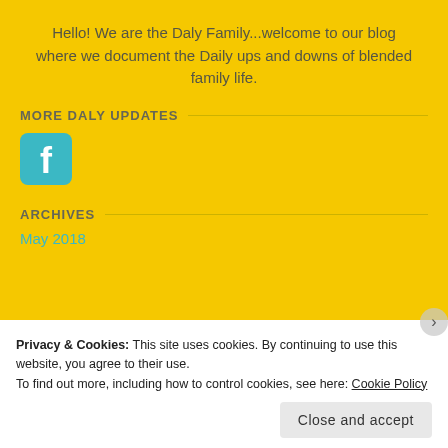Hello! We are the Daly Family...welcome to our blog where we document the Daily ups and downs of blended family life.
MORE DALY UPDATES
[Figure (logo): Facebook icon — teal/cyan rounded square with white 'f' logo]
ARCHIVES
May 2018
Privacy & Cookies: This site uses cookies. By continuing to use this website, you agree to their use.
To find out more, including how to control cookies, see here: Cookie Policy
Close and accept